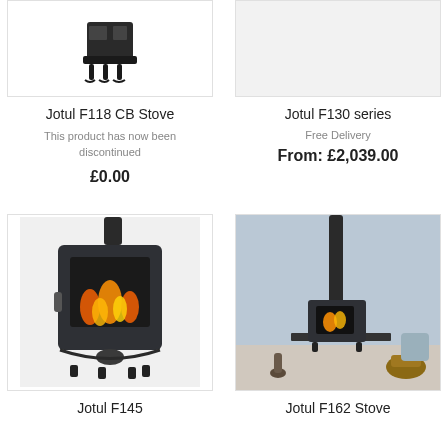[Figure (photo): Jotul F118 CB Stove product image - black cast iron wood stove on legs, top portion visible]
Jotul F118 CB Stove
This product has now been discontinued
£0.00
[Figure (photo): Jotul F130 series stove product image - blank/empty image area]
Jotul F130 series
Free Delivery
From: £2,039.00
[Figure (photo): Jotul F145 stove - dark grey/black wood burning stove with glass door showing flames, round flue on top]
Jotul F145
[Figure (photo): Jotul F162 Stove in a modern living room with blue walls, tall flue pipe, compact stove body on legs]
Jotul F162 Stove